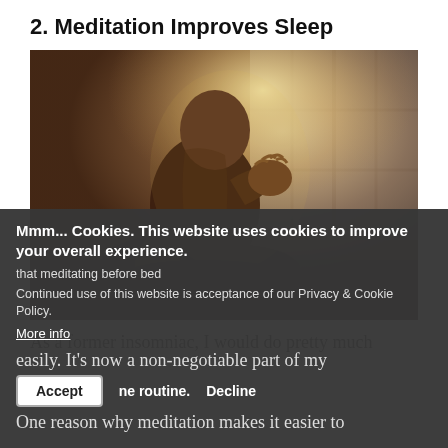2. Meditation Improves Sleep
[Figure (photo): A person sitting cross-legged in a meditation pose, shirtless, with warm backlit light from a window behind them. The background has a bokeh window grid effect.]
As a former insomniac, I would do pretty much
Mmm... Cookies. This website uses cookies to improve your overall experience. Continued use of this website is acceptance of our Privacy & Cookie Policy. More info
that meditating before bed
easily. It's now a non-negotiable part of my
ne routine.
One reason why meditation makes it easier to